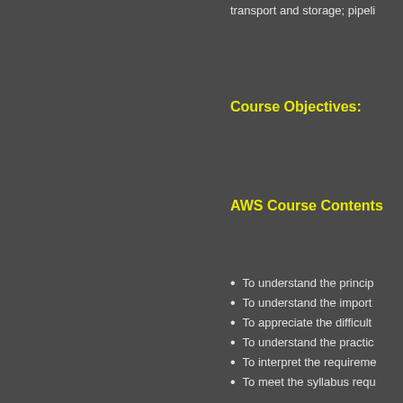transport and storage; pipeli
Course Objectives:
AWS Course Contents
To understand the princip
To understand the import
To appreciate the difficult
To understand the practic
To interpret the requireme
To meet the syllabus requ
Additional Information:
Candidates MUST brin